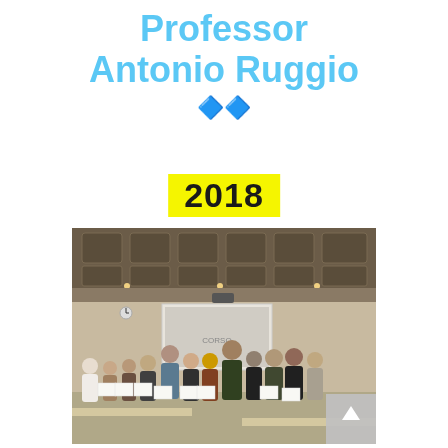Professor Antonio Ruggio
🔷🔷
2018
[Figure (photo): Group photo of students and instructor in a conference room, each holding certificates. A whiteboard/projector screen is visible in the background. A scroll-to-top button overlays the bottom-right corner.]